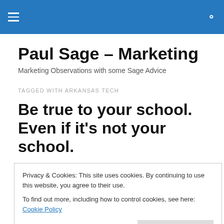Paul Sage – Marketing (site header bar)
Paul Sage – Marketing
Marketing Observations with some Sage Advice
TAGGED WITH ARKANSAS TECH
Be true to your school. Even if it's not your school.
Privacy & Cookies: This site uses cookies. By continuing to use this website, you agree to their use.
To find out more, including how to control cookies, see here: Cookie Policy
college football.. Group shots of people wearing the